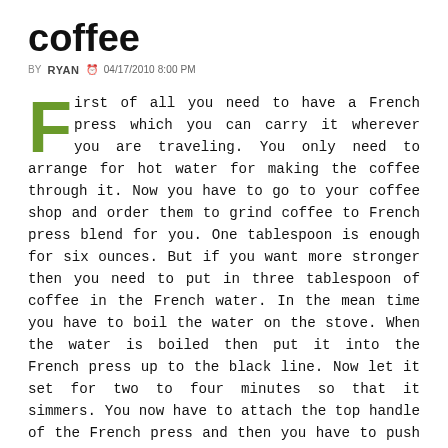coffee
BY RYAN  04/17/2010 8:00 PM
First of all you need to have a French press which you can carry it wherever you are traveling. You only need to arrange for hot water for making the coffee through it. Now you have to go to your coffee shop and order them to grind coffee to French press blend for you. One tablespoon is enough for six ounces. But if you want more stronger then you need to put in three tablespoon of coffee in the French water. In the mean time you have to boil the water on the stove. When the water is boiled then put it into the French press up to the black line. Now let it set for two to four minutes so that it simmers. You now have to attach the top handle of the French press and then you have to push it all the way down so that the coffee is transferred through it till the bottom. Now pour it in cup. You can add sugar to it. You can also add some whipping cream to it which you can heat separately to make it a little warm. Now stir it with a spoon. Use the coffee residue as a